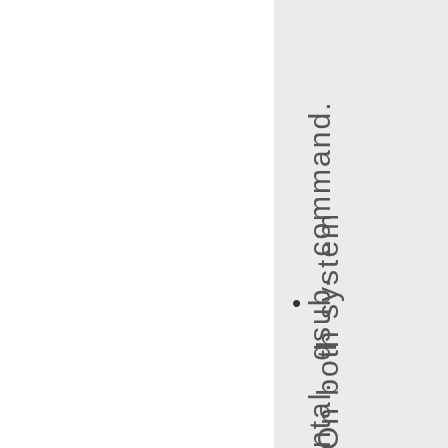ntal. qsub. command. On both system